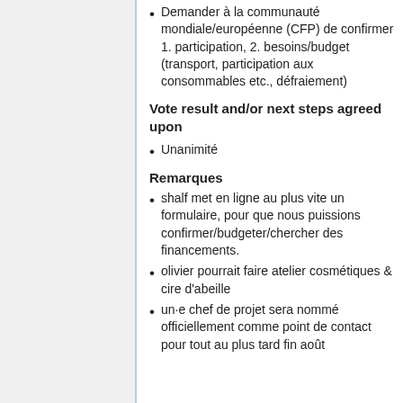Demander à la communauté mondiale/européenne (CFP) de confirmer 1. participation, 2. besoins/budget (transport, participation aux consommables etc., défraiement)
Vote result and/or next steps agreed upon
Unanimité
Remarques
shalf met en ligne au plus vite un formulaire, pour que nous puissions confirmer/budgeter/chercher des financements.
olivier pourrait faire atelier cosmétiques & cire d'abeille
un·e chef de projet sera nommé officiellement comme point de contact pour tout au plus tard fin août